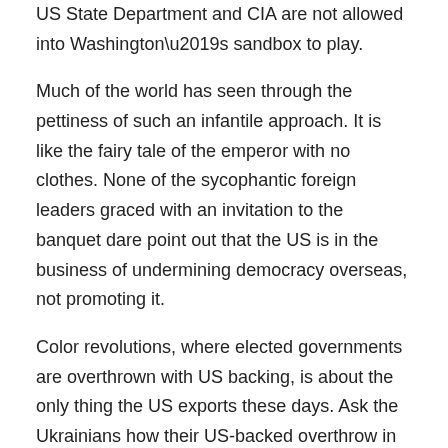US State Department and CIA are not allowed into Washington's sandbox to play.
Much of the world has seen through the pettiness of such an infantile approach. It is like the fairy tale of the emperor with no clothes. None of the sycophantic foreign leaders graced with an invitation to the banquet dare point out that the US is in the business of undermining democracy overseas, not promoting it.
Color revolutions, where elected governments are overthrown with US backing, is about the only thing the US exports these days. Ask the Ukrainians how their US-backed overthrow in 2014 has worked out for them. Ask any victim of US anti-democratic “color revolutions” about the US commitment to democracy.
For Washington, democracy means “you elect who we tell